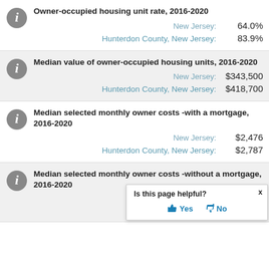Owner-occupied housing unit rate, 2016-2020
New Jersey: 64.0%
Hunterdon County, New Jersey: 83.9%
Median value of owner-occupied housing units, 2016-2020
New Jersey: $343,500
Hunterdon County, New Jersey: $418,700
Median selected monthly owner costs -with a mortgage, 2016-2020
New Jersey: $2,476
Hunterdon County, New Jersey: $2,787
Median selected monthly owner costs -without a mortgage, 2016-2020
Hunterdon County, New Jersey: (truncated)
Is this page helpful? Yes No